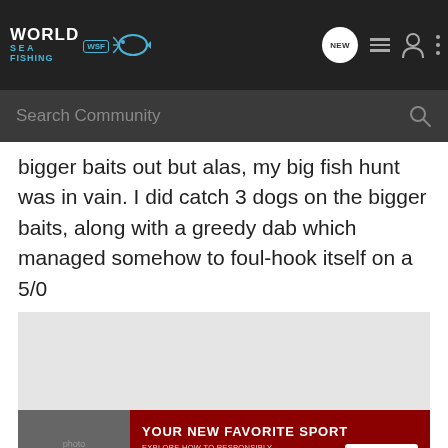World Sea Fishing (WSF) — navigation header with search bar
bigger baits out but alas, my big fish hunt was in vain. I did catch 3 dogs on the bigger baits, along with a greedy dab which managed somehow to foul-hook itself on a 5/0
[Figure (photo): Light grey placeholder image area, partially covered by an advertisement banner at the bottom. The ad banner shows 'YOUR NEW FAVORITE SPORT — EXPLORE HOW TO RESPONSIBLY PARTICIPATE IN THE SHOOTING SPORTS. START HERE!' in red background with a photo of people on the left.]